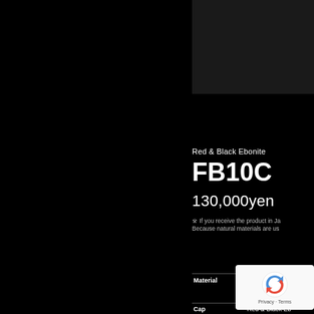[Figure (photo): Dark/black product image area in upper right portion of page]
Red & Black Ebonite
FB10C
130,000yen
※ If you receive the product in Ja... Because natural materials are us...
| Material | FB... |
| --- | --- |
| Cap | Red & Black Eb... |
[Figure (other): reCAPTCHA privacy badge overlay]